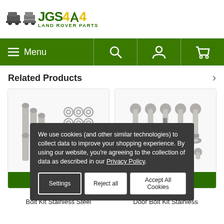[Figure (logo): JGS4x4 Land Rover Parts logo with green text, yellow '4x4' and vehicle silhouettes]
[Figure (screenshot): Green navigation bar with hamburger Menu icon, search icon, account icon, and shopping cart icon]
Related Products
[Figure (photo): Defender bolt kit stainless steel - bolts, washers, and nuts on white background]
[Figure (photo): Bar Safari door bolt kit stainless steel - multiple bolts and nuts on white background]
We use cookies (and other similar technologies) to collect data to improve your shopping experience. By using our website, you're agreeing to the collection of data as described in our Privacy Policy.
Defende... Bolt Kit Stainless Steel
...ar Safari Door Bolt Kit Stainless